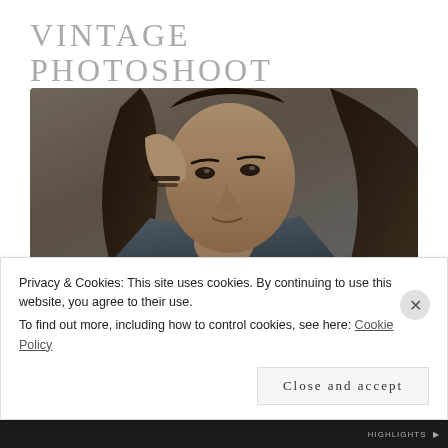VINTAGE PHOTOSHOOT
[Figure (photo): Close-up portrait of a young woman with long dark hair, resting her head on her hand, wearing a denim jacket and bracelets, photographed against a concrete wall in moody black and white tones.]
NOVEMBER 7, 2018
Recently I've been missing the precision and vintage feel
Privacy & Cookies: This site uses cookies. By continuing to use this website, you agree to their use.
To find out more, including how to control cookies, see here: Cookie Policy
Close and accept